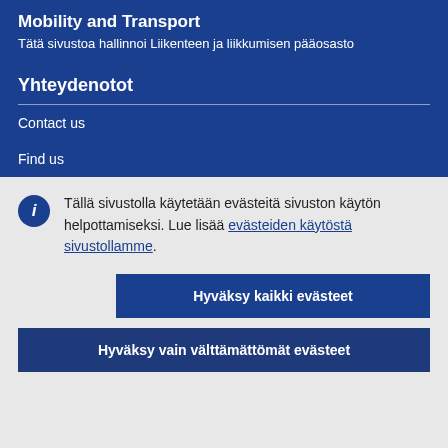Mobility and Transport
Tätä sivustoa hallinnoi Liikenteen ja liikkumisen pääosasto
Yhteydenotot
Contact us
Find us
Tällä sivustolla käytetään evästeitä sivuston käytön helpottamiseksi. Lue lisää evästeiden käytöstä sivustollamme.
Hyväksy kaikki evästeet
Hyväksy vain välttämättömät evästeet